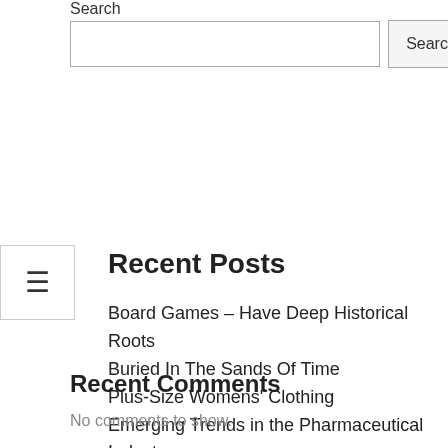Search
Search input and button
Recent Posts
Board Games – Have Deep Historical Roots Buried In The Sands Of Time
Plus-Size Womens' Clothing
Emerging Trends in the Pharmaceutical Industry
California Cannabis Law
The Costliest Ice Machine Mistake – Are You Making It?
Recent Comments
No comments to show.